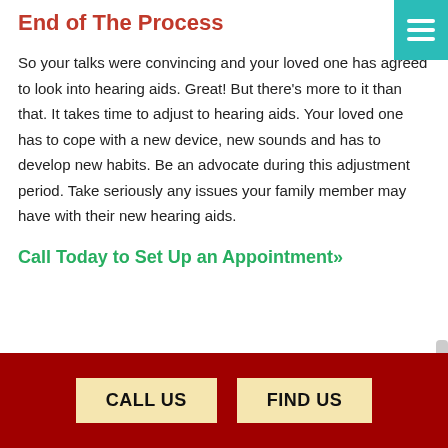End of The Process
So your talks were convincing and your loved one has agreed to look into hearing aids. Great! But there's more to it than that. It takes time to adjust to hearing aids. Your loved one has to cope with a new device, new sounds and has to develop new habits. Be an advocate during this adjustment period. Take seriously any issues your family member may have with their new hearing aids.
Call Today to Set Up an Appointment»
CALL US
FIND US